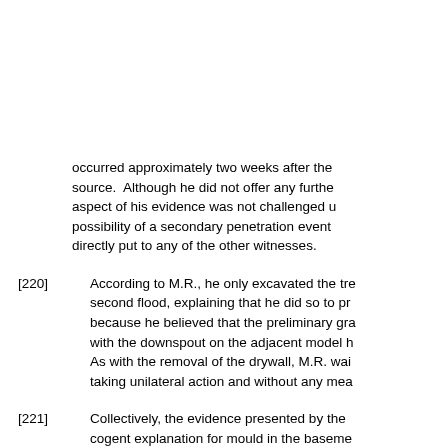occurred approximately two weeks after the source. Although he did not offer any further aspect of his evidence was not challenged u possibility of a secondary penetration event directly put to any of the other witnesses.
[220] According to M.R., he only excavated the tre second flood, explaining that he did so to pr because he believed that the preliminary gra with the downspout on the adjacent model h As with the removal of the drywall, M.R. wai taking unilateral action and without any mea
[221] Collectively, the evidence presented by the cogent explanation for mould in the baseme of mould to an unknown water source, six m